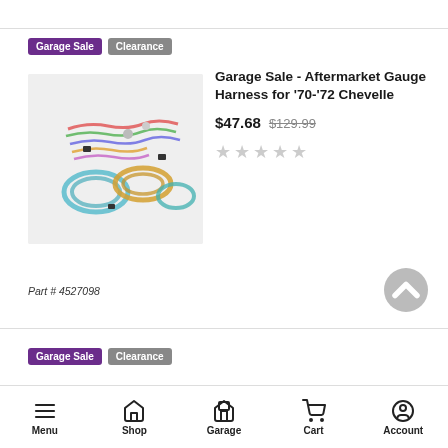Garage Sale | Clearance (badges, top)
[Figure (photo): Aftermarket gauge wiring harness product photo showing multiple colorful wires and connectors coiled on white background]
Garage Sale - Aftermarket Gauge Harness for '70-'72 Chevelle
$47.68  $129.99
★★★★★ (empty stars rating)
Part # 4527098
Garage Sale | Clearance (badges, second product)
Menu  Shop  Garage  Cart  Account